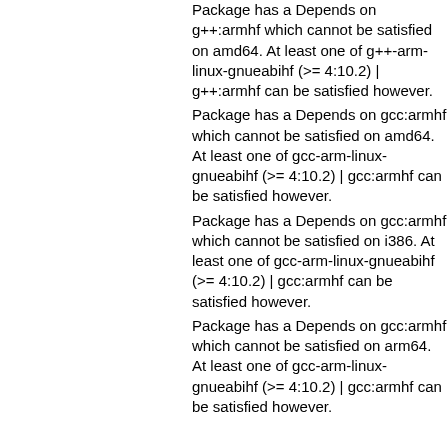Package has a Depends on g++:armhf which cannot be satisfied on amd64. At least one of g++-arm-linux-gnueabihf (>= 4:10.2) | g++:armhf can be satisfied however.
Package has a Depends on gcc:armhf which cannot be satisfied on amd64. At least one of gcc-arm-linux-gnueabihf (>= 4:10.2) | gcc:armhf can be satisfied however.
Package has a Depends on gcc:armhf which cannot be satisfied on i386. At least one of gcc-arm-linux-gnueabihf (>= 4:10.2) | gcc:armhf can be satisfied however.
Package has a Depends on gcc:armhf which cannot be satisfied on arm64. At least one of gcc-arm-linux-gnueabihf (>= 4:10.2) | gcc:armhf can be satisfied however.